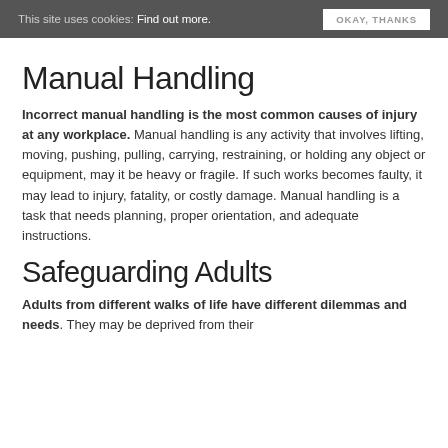This site uses cookies: Find out more. OKAY, THANKS
Manual Handling
Incorrect manual handling is the most common causes of injury at any workplace. Manual handling is any activity that involves lifting, moving, pushing, pulling, carrying, restraining, or holding any object or equipment, may it be heavy or fragile. If such works becomes faulty, it may lead to injury, fatality, or costly damage. Manual handling is a task that needs planning, proper orientation, and adequate instructions.
Safeguarding Adults
Adults from different walks of life have different dilemmas and needs. They may be deprived from their